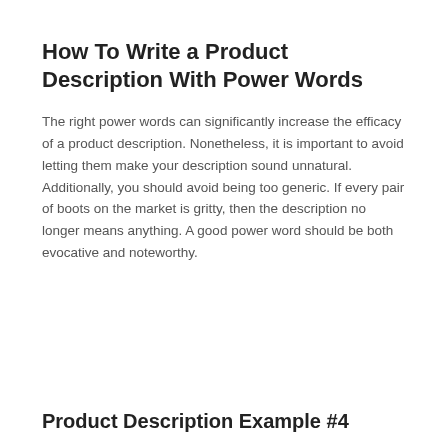How To Write a Product Description With Power Words
The right power words can significantly increase the efficacy of a product description. Nonetheless, it is important to avoid letting them make your description sound unnatural. Additionally, you should avoid being too generic. If every pair of boots on the market is gritty, then the description no longer means anything. A good power word should be both evocative and noteworthy.
Product Description Example #4